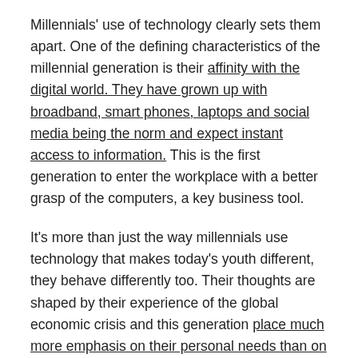Millennials' use of technology clearly sets them apart. One of the defining characteristics of the millennial generation is their affinity with the digital world. They have grown up with broadband, smart phones, laptops and social media being the norm and expect instant access to information. This is the first generation to enter the workplace with a better grasp of the computers, a key business tool.
It's more than just the way millennials use technology that makes today's youth different, they behave differently too. Their thoughts are shaped by their experience of the global economic crisis and this generation place much more emphasis on their personal needs than on those of the organization. Millennials tend to be uncomfortable with rigid corporate structures and turned off by information